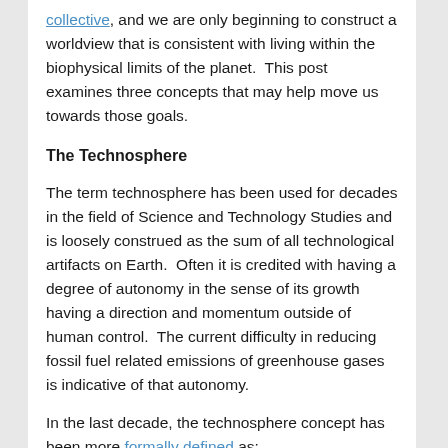collective, and we are only beginning to construct a worldview that is consistent with living within the biophysical limits of the planet.  This post examines three concepts that may help move us towards those goals.
The Technosphere
The term technosphere has been used for decades in the field of Science and Technology Studies and is loosely construed as the sum of all technological artifacts on Earth.  Often it is credited with having a degree of autonomy in the sense of its growth having a direction and momentum outside of human control.  The current difficulty in reducing fossil fuel related emissions of greenhouse gases is indicative of that autonomy.
In the last decade, the technosphere concept has been more formally defined as:
the set of large-scale networked technologies that underlie and make possible rapid extraction from the